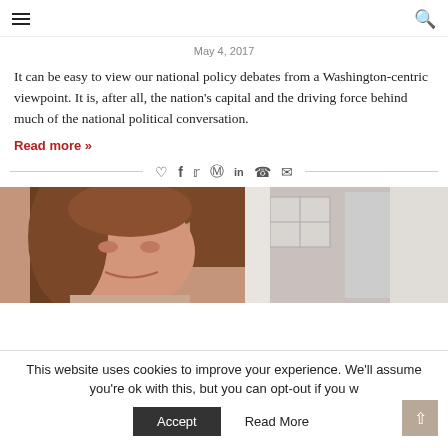Navigation header with hamburger menu and search icon
May 4, 2017
It can be easy to view our national policy debates from a Washington-centric viewpoint. It is, after all, the nation's capital and the driving force behind much of the national political conversation.
Read more »
[Figure (other): Social sharing icons: heart, facebook, twitter, pinterest, linkedin, whatsapp, email]
[Figure (photo): Photo of a woman with brown hair smiling, partially visible, with a window/curtain background]
This website uses cookies to improve your experience. We'll assume you're ok with this, but you can opt-out if you w
Accept
Read More